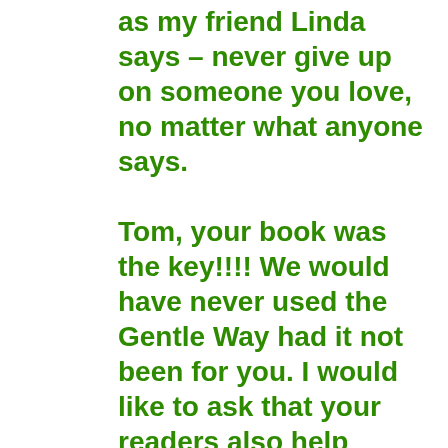as my friend Linda says – never give up on someone you love, no matter what anyone says.

Tom, your book was the key!!!! We would have never used the Gentle Way had it not been for you. I would like to ask that your readers also help Collie to continue to